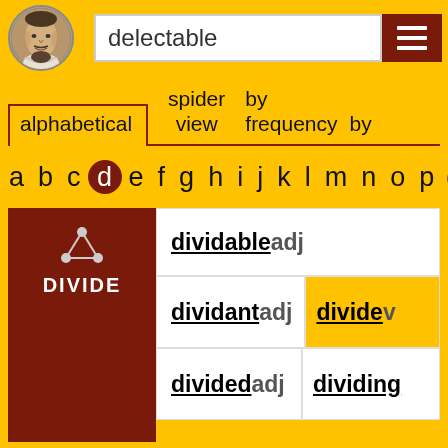[Figure (screenshot): Shakespeare portrait logo in circular frame]
delectable
[Figure (other): Menu/hamburger button icon]
alphabetical   spider view   by frequency   by
a b c d e f g h i j k l m n o p q
[Figure (other): DIVIDE word entry panel with network icon]
dividable adj
dividant adj
divide v
divided adj
dividing